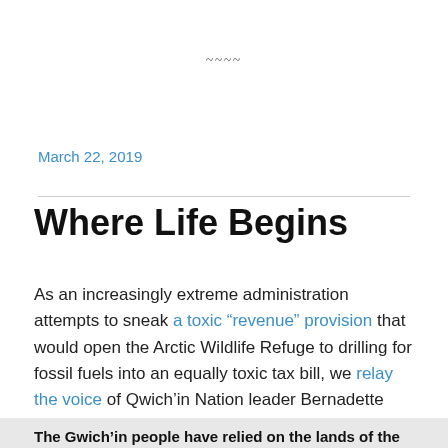~~~~
March 22, 2019
Where Life Begins
As an increasingly extreme administration attempts to sneak a toxic “revenue” provision that would open the Arctic Wildlife Refuge to drilling for fossil fuels into an equally toxic tax bill, we relay the voice of Qwich’in Nation leader Bernadette Demientieff:
The Gwich’in people have relied on the lands of the refuge for